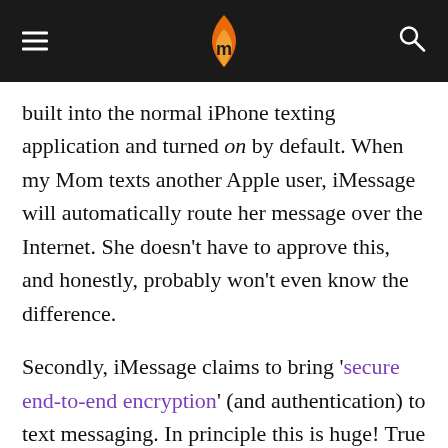[hamburger menu] [flame logo] [search icon]
built into the normal iPhone texting application and turned on by default. When my Mom texts another Apple user, iMessage will automatically route her message over the Internet. She doesn't have to approve this, and honestly, probably won't even know the difference.
Secondly, iMessage claims to bring 'secure end-to-end encryption' (and authentication) to text messaging. In principle this is huge! True end-to-end encryption should protect you from eavesdropping even by Apple, who